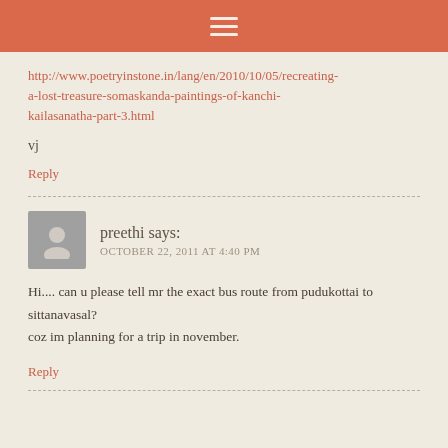[Figure (other): Orange/terracotta header bar with hamburger menu icon (three horizontal lines)]
http://www.poetryinstone.in/lang/en/2010/10/05/recreating-a-lost-treasure-somaskanda-paintings-of-kanchi-kailasanatha-part-3.html
vj
Reply
preethi says:
OCTOBER 22, 2011 AT 4:40 PM
Hi.... can u please tell mr the exact bus route from pudukottai to sittanavasal?
coz im planning for a trip in november.
Reply